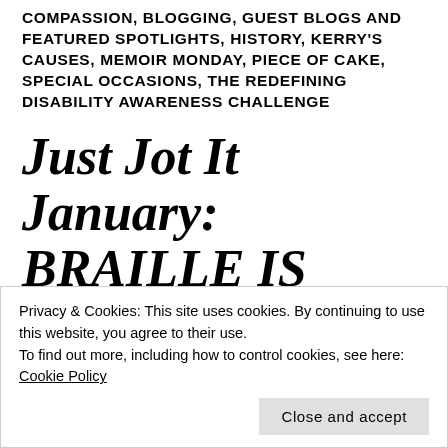COMPASSION, BLOGGING, GUEST BLOGS AND FEATURED SPOTLIGHTS, HISTORY, KERRY'S CAUSES, MEMOIR MONDAY, PIECE OF CAKE, SPECIAL OCCASIONS, THE REDEFINING DISABILITY AWARENESS CHALLENGE
Just Jot It January: BRAILLE IS STILL NECESSARY
Privacy & Cookies: This site uses cookies. By continuing to use this website, you agree to their use.
To find out more, including how to control cookies, see here: Cookie Policy
Close and accept
DISABILITY, ESSAY, IMAGE DESCRIPTIONS, LARGE PRINT